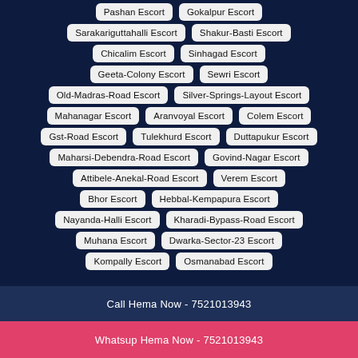Pashan Escort
Gokalpur Escort
Sarakariguttahalli Escort
Shakur-Basti Escort
Chicalim Escort
Sinhagad Escort
Geeta-Colony Escort
Sewri Escort
Old-Madras-Road Escort
Silver-Springs-Layout Escort
Mahanagar Escort
Aranvoyal Escort
Colem Escort
Gst-Road Escort
Tulekhurd Escort
Duttapukur Escort
Maharsi-Debendra-Road Escort
Govind-Nagar Escort
Attibele-Anekal-Road Escort
Verem Escort
Bhor Escort
Hebbal-Kempapura Escort
Nayanda-Halli Escort
Kharadi-Bypass-Road Escort
Muhana Escort
Dwarka-Sector-23 Escort
Kompally Escort
Osmanabad Escort
Call Hema Now - 7521013943
Whatsup Hema Now - 7521013943